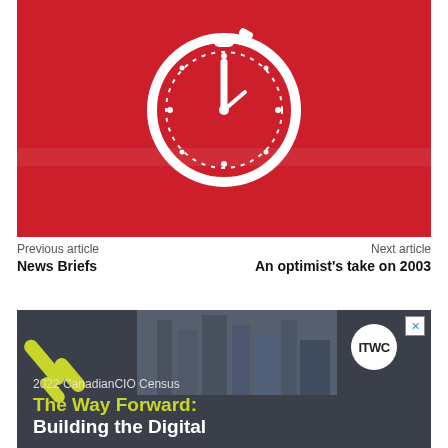[Figure (illustration): Red background banner with a white stopwatch/clock icon centered on it]
Previous article
News Briefs
Next article
An optimist's take on 2003
[Figure (infographic): Advertisement banner with dark grey background showing ITWC logo badge, yellow diagonal bars, city photo, and text: 2022 CanadianCIO Census The Way Forward: Building the Digital]